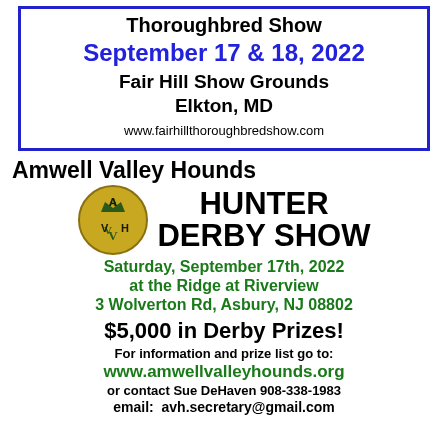Thoroughbred Show September 17 & 18, 2022 Fair Hill Show Grounds Elkton, MD www.fairhillthoroughbredshow.com
Amwell Valley Hounds HUNTER DERBY SHOW
Saturday, September 17th, 2022 at the Ridge at Riverview 3 Wolverton Rd, Asbury, NJ 08802
$5,000 in Derby Prizes!
For information and prize list go to:
www.amwellvalleyhounds.org
or contact Sue DeHaven 908-338-1983
email:  avh.secretary@gmail.com